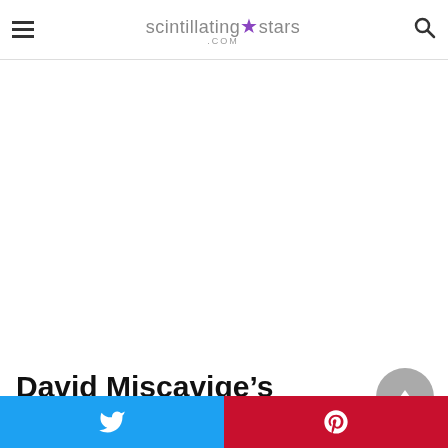scintillating★stars.com
[Figure (other): Advertisement / blank white area]
David Miscavige's wife:
[Figure (other): Scroll to top button (grey circle with upward triangle arrow)]
[Figure (other): Social share bar with Twitter (blue) and Pinterest (red) buttons]